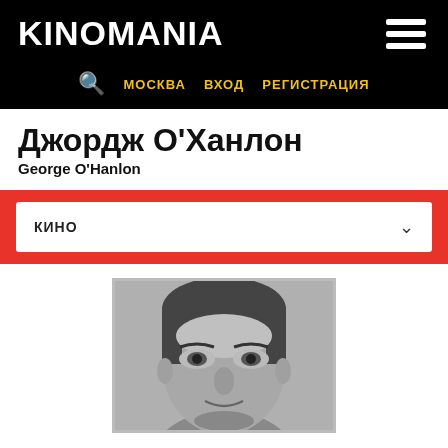KINOMANIA
МОСКВА  ВХОД  РЕГИСТРАЦИЯ
Джордж О'Ханлон
George O'Hanlon
КИНО
[Figure (photo): Black and white close-up portrait photo of George O'Hanlon, a middle-aged man with dark hair, looking slightly to the side.]